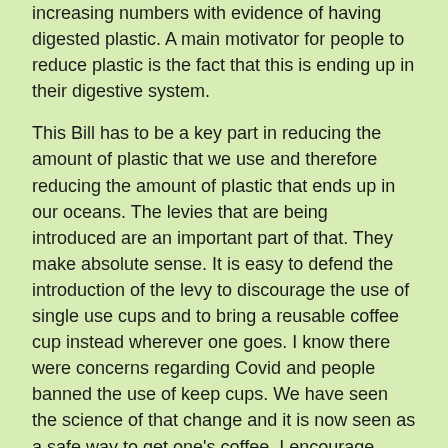increasing numbers with evidence of having digested plastic. A main motivator for people to reduce plastic is the fact that this is ending up in their digestive system.
This Bill has to be a key part in reducing the amount of plastic that we use and therefore reducing the amount of plastic that ends up in our oceans. The levies that are being introduced are an important part of that. They make absolute sense. It is easy to defend the introduction of the levy to discourage the use of single use cups and to bring a reusable coffee cup instead wherever one goes. I know there were concerns regarding Covid and people banned the use of keep cups. We have seen the science of that change and it is now seen as a safe way to get one's coffee. I encourage everyone to do that and to cut back on the use of disposable coffee cups. This Bill will achieve that through this levy, as well as the levies on other wasteful products.
I would like to see stronger legislation regarding microplastics, which are talked about frequently. They are still not discouraged enough and they still exist. They are one of the most harmful forms of pollution, particularly of our oceans, because it is so easy for them to get into water and out into the oceans. There was a good discussion during pre-legislative scrutiny, which I know Deputy Bruton spoke about, on putting an onus to address this on companies, especially big industry. It is much harder for micro and small businesses to make those changes. We need to see big industries drive towards making products for a circular economy, with